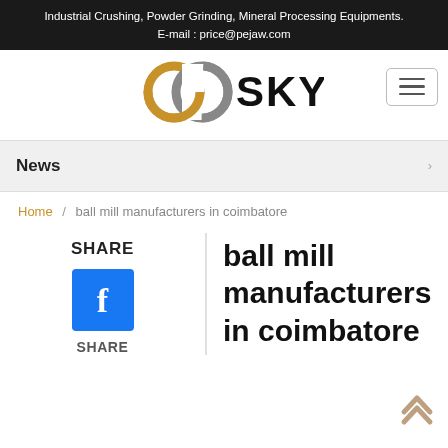Industrial Crushing, Powder Grinding, Mineral Processing Equipments.
E-mail : price@pejaw.com
[Figure (logo): GG SKY company logo with interlocking ring symbol in gold/grey and bold black SKY text]
News
Home / ball mill manufacturers in coimbatore
ball mill manufacturers in coimbatore
SHARE
[Figure (logo): Facebook share button - blue square with white letter f]
SHARE